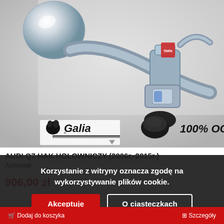[Figure (photo): Close-up photo of a chrome tow hitch / towbar mechanism (hak holowniczy) with a ball mount, locking mechanism, and rubber cap. Galia brand logo visible at bottom left. Text '100% OC' visible at bottom right.]
AUDI Q7 HAK HOLOWNICZY (2006r.-2015r.)
Automat
906,00 zł
Korzystanie z witryny oznacza zgodę na wykorzystywanie plików cookie.
Akceptuję
O ciasteczkach
🛒 Dodaj do koszyka
⊞ Szczegóły